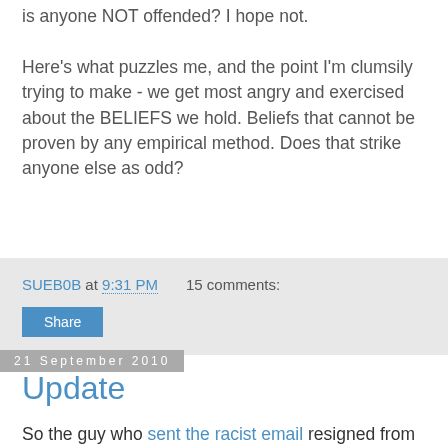is anyone NOT offended? I hope not.

Here's what puzzles me, and the point I'm clumsily trying to make - we get most angry and exercised about the BELIEFS we hold. Beliefs that cannot be proven by any empirical method. Does that strike anyone else as odd?
SUEB0B at 9:31 PM   15 comments:
Share
21 September 2010
Update
So the guy who sent the racist email resigned from the club we were in together.

I have seen him around town a few times.

When I was younger, I might have been tempted to make a friendly gesture, to be conciliatory.